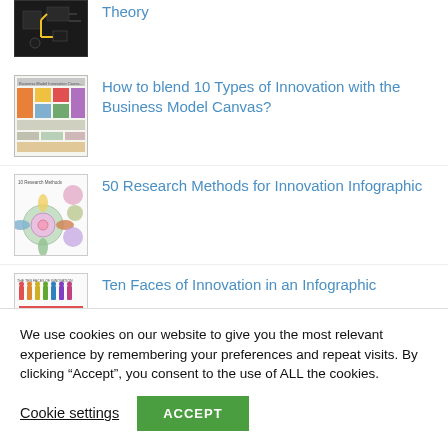[Figure (screenshot): Thumbnail image of a dark circuit-board style diagram, partially visible at top]
[Figure (screenshot): Thumbnail image of Business Model Innovation Canvas infographic]
How to blend 10 Types of Innovation with the Business Model Canvas?
[Figure (screenshot): Thumbnail image of 50 Research Methods infographic with gear/wheel shapes]
50 Research Methods for Innovation Infographic
[Figure (screenshot): Thumbnail image of Ten Faces of Innovation infographic with colored person icons]
Ten Faces of Innovation in an Infographic
We use cookies on our website to give you the most relevant experience by remembering your preferences and repeat visits. By clicking “Accept”, you consent to the use of ALL the cookies.
Cookie settings
ACCEPT